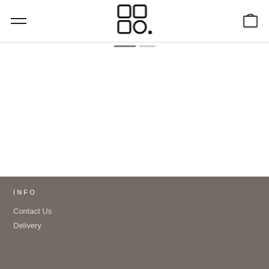Navigation header with hamburger menu, logo, and cart icon
[Figure (logo): Brand logo composed of four rounded squares arranged in a 2x2 grid with a dot pattern, in black]
[Figure (photo): Product image area showing Kubrik Necklace - white/blank product display area]
KUBRIK NECKLACE
€350
INFO
Contact Us
Delivery